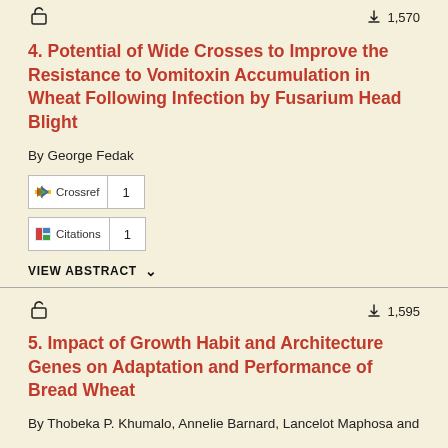4. Potential of Wide Crosses to Improve the Resistance to Vomitoxin Accumulation in Wheat Following Infection by Fusarium Head Blight
By George Fedak
Crossref 1
Citations 1
VIEW ABSTRACT
5. Impact of Growth Habit and Architecture Genes on Adaptation and Performance of Bread Wheat
By Thobeka P. Khumalo, Annelie Barnard, Lancelot Maphosa and